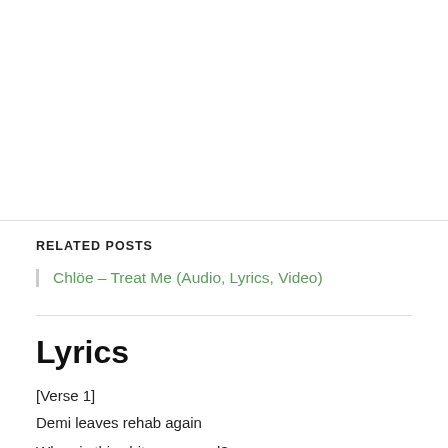RELATED POSTS
Chlöe – Treat Me (Audio, Lyrics, Video)
Lyrics
[Verse 1]
Demi leaves rehab again
When is this shit gonna end?